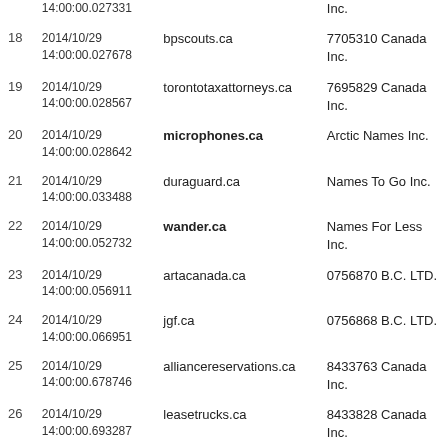| # | Date/Time | Domain | Registrar |
| --- | --- | --- | --- |
|  | 14:00:00.027331 |  | Inc. |
| 18 | 2014/10/29
14:00:00.027678 | bpscouts.ca | 7705310 Canada Inc. |
| 19 | 2014/10/29
14:00:00.028567 | torontotaxattorneys.ca | 7695829 Canada Inc. |
| 20 | 2014/10/29
14:00:00.028642 | microphones.ca | Arctic Names Inc. |
| 21 | 2014/10/29
14:00:00.033488 | duraguard.ca | Names To Go Inc. |
| 22 | 2014/10/29
14:00:00.052732 | wander.ca | Names For Less Inc. |
| 23 | 2014/10/29
14:00:00.056911 | artacanada.ca | 0756870 B.C. LTD. |
| 24 | 2014/10/29
14:00:00.066951 | jgf.ca | 0756868 B.C. LTD. |
| 25 | 2014/10/29
14:00:00.678746 | alliancereservations.ca | 8433763 Canada Inc. |
| 26 | 2014/10/29
14:00:00.693287 | leasetrucks.ca | 8433828 Canada Inc. |
| 27 | 2014/10/29
14:00:00.735439 | ambanigeracanada.ca | 7809662 Canada Inc. |